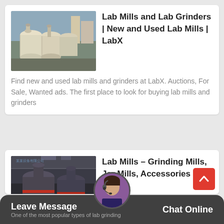[Figure (photo): Photo of industrial lab mills / grinders, beige/cream colored cylindrical machines outdoors]
Lab Mills and Lab Grinders | New and Used Lab Mills | LabX
Find new and used lab mills and grinders at LabX. Auctions, For Sale, Wanted ads. The first place to look for buying lab mills and grinders
[Figure (photo): Photo of dark industrial grinding mills inside a factory]
Lab Mills - Grinding Mills, Jar Mills, Accessories -
One of the most popular types of lab grinding
Leave Message
Chat Online